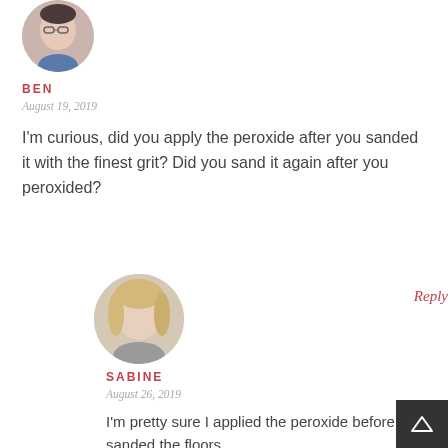[Figure (photo): Circular avatar photo of Ben, a person with glasses]
BEN
August 19, 2019
I'm curious, did you apply the peroxide after you sanded it with the finest grit? Did you sand it again after you peroxided?
[Figure (photo): Circular avatar photo of Sabine, a woman with blonde hair]
Reply
SABINE
August 26, 2019
I'm pretty sure I applied the peroxide before I sanded the floors.